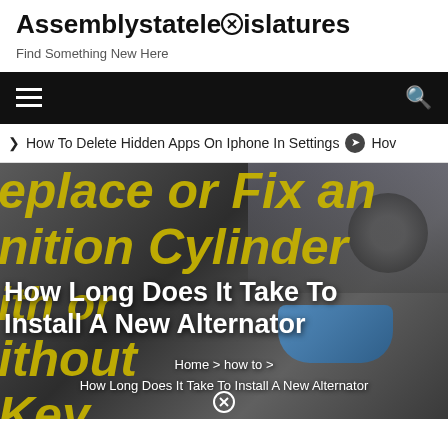Assemblystatelegislatures
Find Something New Here
Navigation bar with hamburger menu and search icon
How To Delete Hidden Apps On Iphone In Settings  ❯  Hov
[Figure (photo): Hero image showing car engine/alternator area with overlaid text. Background shows automotive parts. Yellow bold italic text partially visible reading 'eplace or Fix an nition Cylinder ith or ithout Key'. White bold text overlay reads 'How Long Does It Take To Install A New Alternator'. Breadcrumb navigation below reads 'Home > how to > How Long Does It Take To Install A New Alternator']
How Long Does It Take To Install A New Alternator
Home > how to > How Long Does It Take To Install A New Alternator